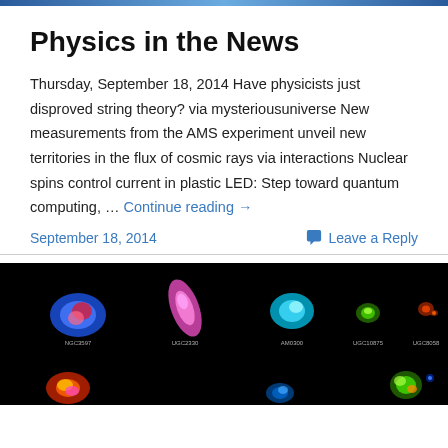[Figure (photo): Top banner image strip]
Physics in the News
Thursday, September 18, 2014 Have physicists just disproved string theory? via mysteriousuniverse New measurements from the AMS experiment unveil new territories in the flux of cosmic rays via interactions Nuclear spins control current in plastic LED: Step toward quantum computing, … Continue reading →
September 18, 2014   Leave a Reply
[Figure (photo): False-color radio astronomical images of galaxies on black background, labeled NGC3597, UGC2330, AM0300, UGC10875, UGC8058 in top row; partial second row visible]